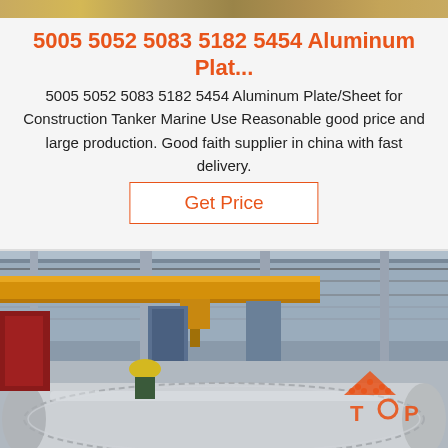[Figure (photo): Thin horizontal decorative image strip at the top of the page, showing a blurred warm-toned background.]
5005 5052 5083 5182 5454 Aluminum Plat...
5005 5052 5083 5182 5454 Aluminum Plate/Sheet for Construction Tanker Marine Use Reasonable good price and large production. Good faith supplier in china with fast delivery.
Get Price
[Figure (photo): Industrial warehouse photo showing a large roll of aluminum sheet wrapped in plastic film in the foreground. Background shows yellow overhead crane, steel columns, and a worker in a yellow hard hat. An orange 'TOP' logo watermark is in the bottom right corner.]